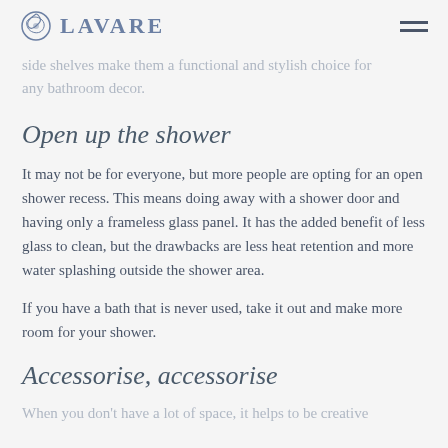LAVARE
side shelves make them a functional and stylish choice for any bathroom decor.
Open up the shower
It may not be for everyone, but more people are opting for an open shower recess. This means doing away with a shower door and having only a frameless glass panel. It has the added benefit of less glass to clean, but the drawbacks are less heat retention and more water splashing outside the shower area.
If you have a bath that is never used, take it out and make more room for your shower.
Accessorise, accessorise
When you don't have a lot of space, it helps to be creative